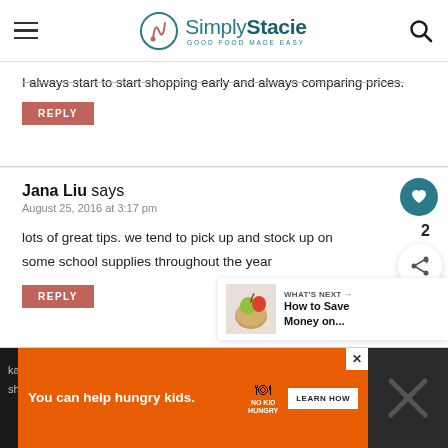Simply Stacie — GOOD FOOD MADE EASY
I always start to start shopping early and always comparing prices.
REPLY
Jana Liu says
August 25, 2016 at 3:17 pm
lots of great tips. we tend to pick up and stock up on some school supplies throughout the year
REPLY
WHAT'S NEXT → How to Save Money on...
You can help hungry kids. NO KID HUNGRY LEARN HOW